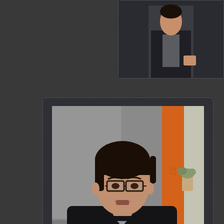[Figure (photo): Small photo card in top-right corner showing a person in formal attire]
[Figure (photo): Main photo of Nadi, a young man with glasses wearing a dark blazer, seated at a table with books and a glass pitcher, in a room with grey and orange walls]
Nadi in the Hot Seat
[Figure (photo): Partial photo of a room with orange walls and people seated, partially visible at bottom of page]